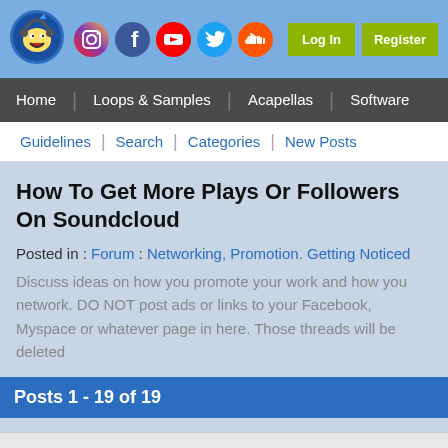Home | Loops & Samples | Acapellas | Software
Guidelines | Search | Categories | New Posts
How To Get More Plays Or Followers On Soundcloud
Posted in : Forum : Networking, Promotion. Getting Noticed
Discuss ideas on how you promote your work and how you network. DO NOT post ads or links to your Facebook, Myspace or whatever page in here. Those threads will be deleted
Posts 1 - 19 of 19